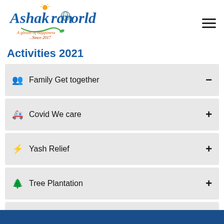[Figure (logo): Ashakiran World logo with sun graphic, globe, green swirl, tagline 'A gleam of happiness ...Since 2017']
Activities 2021
Family Get together
Covid We care
Yash Relief
Tree Plantation
Eye Camp